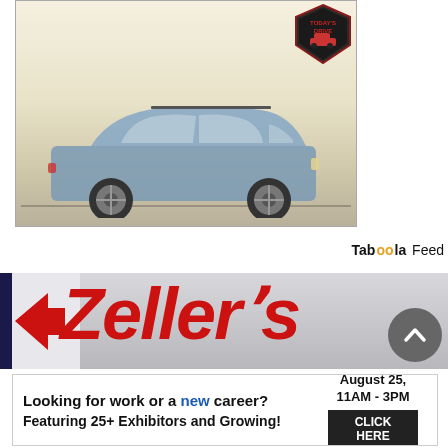[Figure (photo): Blue Subaru crossover SUV parked in a misty outdoor setting, with a 'Today's Drive' badge in the top right corner of the image.]
Taboola Feed
[Figure (photo): Zellers store sign showing the red Zellers logo text and red arrow logo on a grey building facade.]
[Figure (screenshot): Advertisement banner: 'Looking for work or a new career? August 25, 11AM - 3PM. Featuring 25+ Exhibitors and Growing! CLICK HERE']